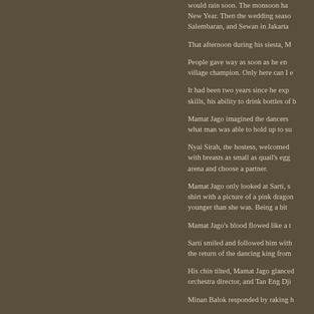would rain soon. The monsoon had New Year. Then the wedding seaso Salembaran, and Sewan in Jakarta
That afternoon during his siesta, M
People gave way as soon as he en village champion. Only here can I e
It had been two years since he exp skills, his ability to drink bottles of b
Mamat Jago imagined the dancers what man was able to hold up to su
Nyai Sirah, the hostess, welcomed with breasts as small as quail's egg arena and choose a partner.
Mamat Jago only looked at Sarti, s shirt with a picture of a pink dragon younger than she was. Being a bit
Mamat Jago's blood flowed like a t
Sarti smiled and followed him with the return of the dancing king from
His chin tilted, Mamat Jago glanced orchestra director, and Tan Eng Dji
Minan Balok responded by raking h